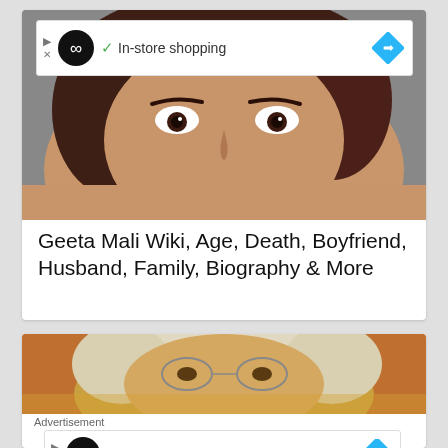[Figure (screenshot): Ad banner with infinity logo black circle, checkmark, 'In-store shopping' text, and blue diamond arrow icon]
[Figure (photo): Close-up photo of a woman with curly dark hair and dark eyes, looking at camera]
Geeta Mali Wiki, Age, Death, Boyfriend, Husband, Family, Biography & More
[Figure (photo): Close-up photo of an elderly person with white hair and glasses]
Advertisement
[Figure (screenshot): Ad banner with infinity logo black circle, checkmark, 'In-store shopping' text, and blue diamond arrow icon]